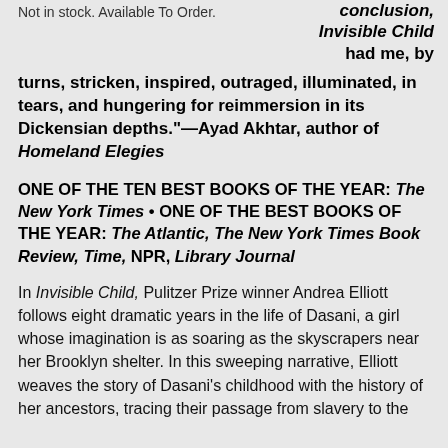Not in stock. Available To Order.
conclusion, Invisible Child had me, by turns, stricken, inspired, outraged, illuminated, in tears, and hungering for reimmersion in its Dickensian depths."—Ayad Akhtar, author of Homeland Elegies
ONE OF THE TEN BEST BOOKS OF THE YEAR: The New York Times • ONE OF THE BEST BOOKS OF THE YEAR: The Atlantic, The New York Times Book Review, Time, NPR, Library Journal
In Invisible Child, Pulitzer Prize winner Andrea Elliott follows eight dramatic years in the life of Dasani, a girl whose imagination is as soaring as the skyscrapers near her Brooklyn shelter. In this sweeping narrative, Elliott weaves the story of Dasani's childhood with the history of her ancestors, tracing their passage from slavery to the